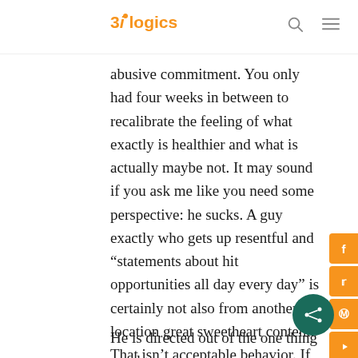3ilogics
abusive commitment. You only had four weeks in between to recalibrate the feeling of what exactly is healthier and what is actually maybe not. It may sound if you ask me like you need some perspective: he sucks. A guy exactly who gets up resentful and “statements about hit opportunities all day every day” is certainly not also from another location great sweetheart content. That isn’t acceptable behavior. If things, he need worried for your family — maybe not selfishly that makes it bad.
He is directed out of the one thing you have